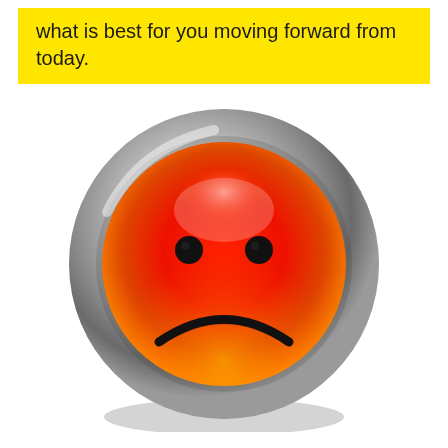what is best for you moving forward from today.
[Figure (illustration): A glossy red-to-orange sad face emoji styled as a round button with a metallic silver ring border. The face has two black dot eyes and a downward curved frown mouth. The button has a 3D glossy appearance with light reflection at top.]